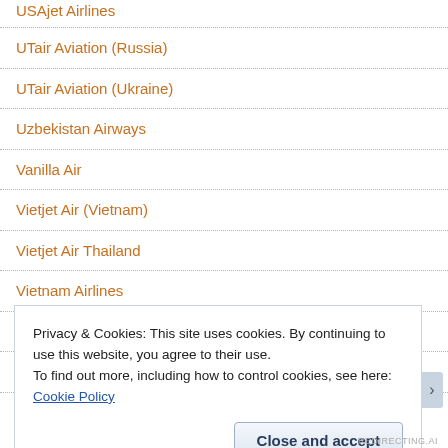USAjet Airlines
UTair Aviation (Russia)
UTair Aviation (Ukraine)
Uzbekistan Airways
Vanilla Air
Vietjet Air (Vietnam)
Vietjet Air Thailand
Vietnam Airlines
VIM Airlines
Virgin America
Privacy & Cookies: This site uses cookies. By continuing to use this website, you agree to their use.
To find out more, including how to control cookies, see here: Cookie Policy